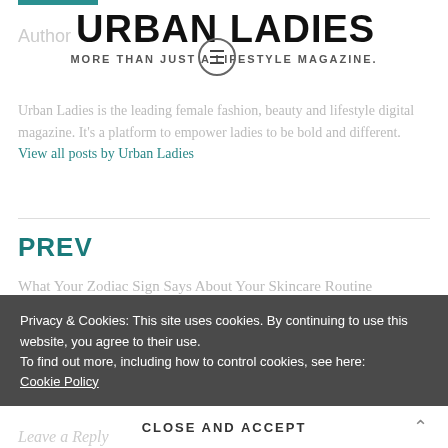URBAN LADIES – MORE THAN JUST A LIFESTYLE MAGAZINE.
Urban Ladies is the leading female fashion, beauty and lifestyle digital magazine. It's a platform to empower ladies to be bold and different. View all posts by Urban Ladies
PREV
What Your Zodiac Sign Says About Your Skincare Routine
Privacy & Cookies: This site uses cookies. By continuing to use this website, you agree to their use.
To find out more, including how to control cookies, see here:
Cookie Policy
CLOSE AND ACCEPT
Leave a Reply